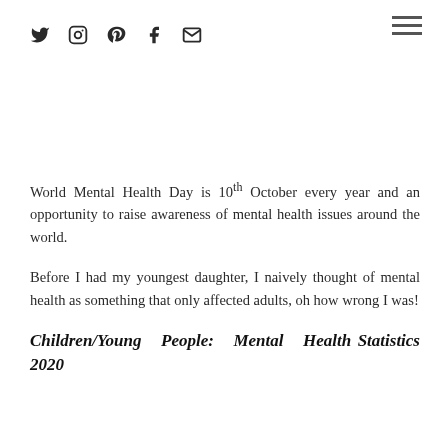Social media icons (Twitter, Instagram, Pinterest, Facebook, Email) and hamburger menu
World Mental Health Day is 10th October every year and an opportunity to raise awareness of mental health issues around the world.
Before I had my youngest daughter, I naively thought of mental health as something that only affected adults, oh how wrong I was!
Children/Young People: Mental Health Statistics 2020